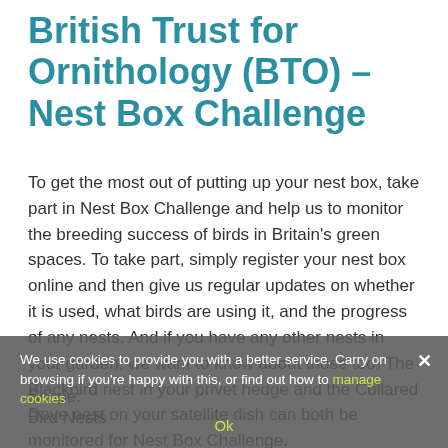British Trust for Ornithology (BTO) – Nest Box Challenge
To get the most out of putting up your nest box, take part in Nest Box Challenge and help us to monitor the breeding success of birds in Britain's green spaces. To take part, simply register your nest box online and then give us regular updates on whether it is used, what birds are using it, and the progress of any nests. And if you have any other nests in your garden, we want to know about those too! The Blackbird nest in your privet hedge and the Collared Dove nest on your satellite dish can both be monitored for Nest Box Challenge.
Scope:
Bird Nests
We use cookies to provide you with a better service. Carry on browsing if you're happy with this, or find out how to manage cookies